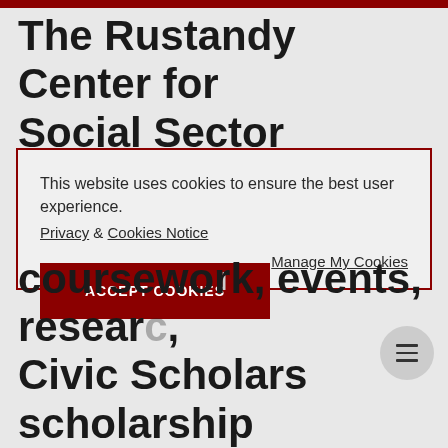The Rustandy Center for Social Sector Innovation is
This website uses cookies to ensure the best user experience.
Privacy & Cookies Notice
ACCEPT COOKIES
Manage My Cookies
coursework, events, research, Civic Scholars scholarship